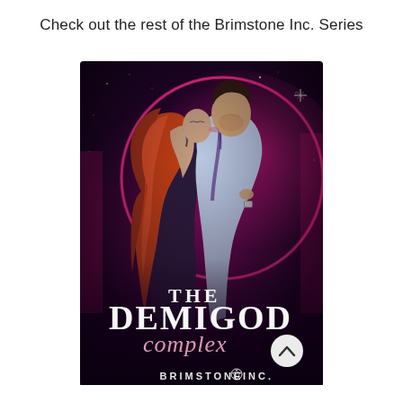Check out the rest of the Brimstone Inc. Series
[Figure (illustration): Book cover for 'The Demigod Complex' by Brimstone Inc. Shows a man and woman in a romantic embrace about to kiss, with a glowing pink circular halo behind them on a dark starry background. The woman has long red hair and is wearing a dark dress with a strap being pulled down. The man wears a light blue shirt with tie. Large stylized text reads 'THE DEMIGOD Complex' and at the bottom 'BRIMSTONE ⛤ INC.' A white circular back-navigation button appears at the bottom right corner of the image.]